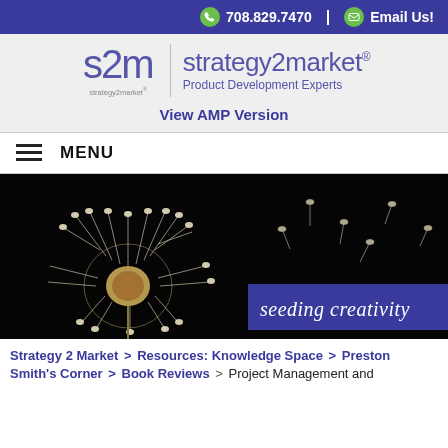708.829.7470 | Email Us!
[Figure (logo): strategy2market logo with s2m icon and tagline 'Product Development Experts']
View AMP Version
MENU
[Figure (photo): Dandelion with seeds floating on black background with text overlay 'seeding creativity']
Strategy 2 Market > Resources: Knowledge Space > Preston Smith's Corner > Book Reviews > Project Management and